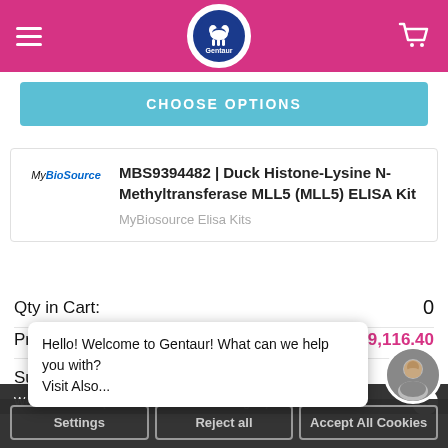[Figure (logo): Gentaur website header with hamburger menu, Gentaur logo (blue circle with animal silhouette), and shopping cart icon on pink/magenta background]
CHOOSE OPTIONS
[Figure (logo): MyBioSource company logo]
MBS9394482 | Duck Histone-Lysine N-Methyltransferase MLL5 (MLL5) ELISA Kit
MyBiosource Elisa Kits
Qty in Cart: 0
Price: $816.00 - $9,116.40
Subtotal:
We use cookies (and other similar technologies) to collect
Hello! Welcome to Gentaur! What can we help you with?
Visit Also...
Settings   Reject all   Accept All Cookies